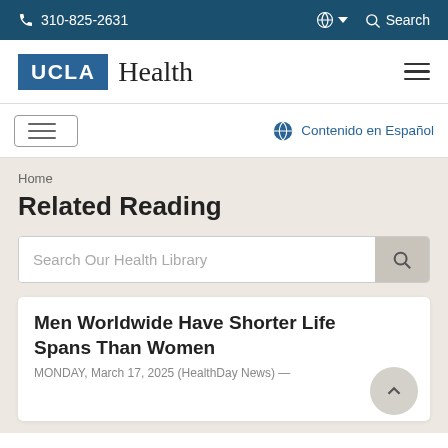310-825-2631  Search
[Figure (logo): UCLA Health logo with blue UCLA box and serif Health text]
Contenido en Español
Home
Related Reading
Search Our Health Library
Men Worldwide Have Shorter Life Spans Than Women